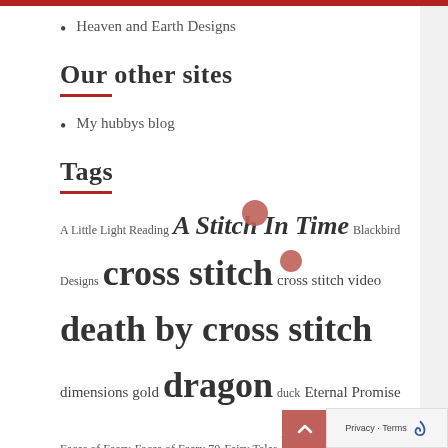Heaven and Earth Designs
Our other sites
My hubbys blog
Tags
A Little Light Reading A Stitch In Time Blackbird Designs cross stitch cross stitch video death by cross stitch dimensions gold dragon duck Eternal Promise Faces of Faery Faces of Faery 70 Fairy Tales flosstube framing Gamer Nouveau Gecko rouge Geckorouge Gordon Fitchett grumpy cat HAED Heaven and Earth Heaven and Earth Designs Just Be Long Dog